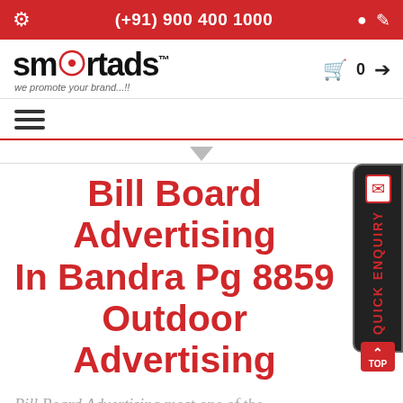(+91) 900 400 1000
[Figure (logo): Smartads logo — 'smartads' text with a film reel replacing the 'o', tagline 'we promote your brand...!!']
Bill Board Advertising In Bandra Pg 8859 Outdoor Advertising
Bill Board Advertising most one of the most, effective, successful, advertising